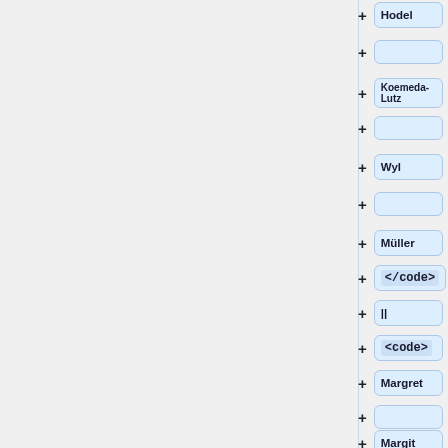+ Hodel
+
+ Koemeda-Lutz
+
+ Wyl
+
+ Müller
+ </code>
+ ||
+ <code>
+ Margret
+
+ Margit